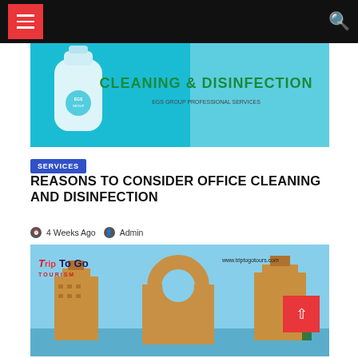Navigation bar with hamburger menu and search icon
[Figure (photo): EGS Group cleaning and disinfection product image on teal background with text 'CLEANING & DISINFECTION']
SERVICES
REASONS TO CONSIDER OFFICE CLEANING AND DISINFECTION
4 Weeks Ago  Admin
[Figure (photo): Trip To Go Tourism advertisement showing Atlantis hotel in Dubai with website www.triptogotours.com]